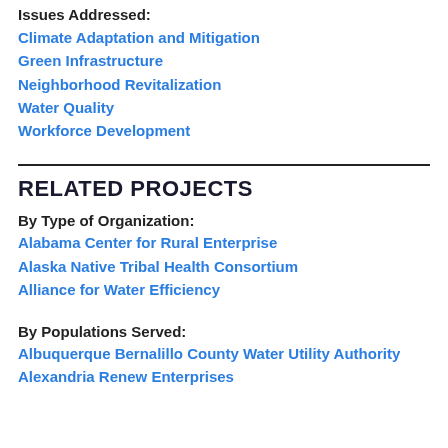Issues Addressed:
Climate Adaptation and Mitigation
Green Infrastructure
Neighborhood Revitalization
Water Quality
Workforce Development
RELATED PROJECTS
By Type of Organization:
Alabama Center for Rural Enterprise
Alaska Native Tribal Health Consortium
Alliance for Water Efficiency
By Populations Served:
Albuquerque Bernalillo County Water Utility Authority
Alexandria Renew Enterprises